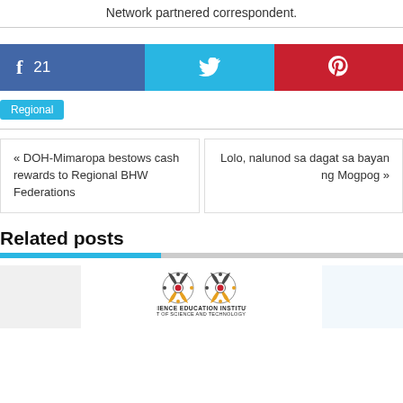Network partnered correspondent.
[Figure (infographic): Social share bar with Facebook (21 shares), Twitter, and Pinterest buttons]
Regional
« DOH-Mimaropa bestows cash rewards to Regional BHW Federations
Lolo, nalunod sa dagat sa bayan ng Mogpog »
Related posts
[Figure (logo): Science Education Institute, Department of Science and Technology - Mimaropa logo]